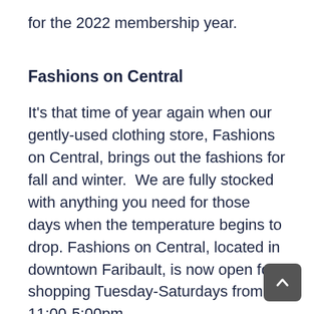for the 2022 membership year.
Fashions on Central
It's that time of year again when our gently-used clothing store, Fashions on Central, brings out the fashions for fall and winter.  We are fully stocked with anything you need for those days when the temperature begins to drop. Fashions on Central, located in downtown Faribault, is now open for shopping Tuesday-Saturdays from 11:00-5:00pm.